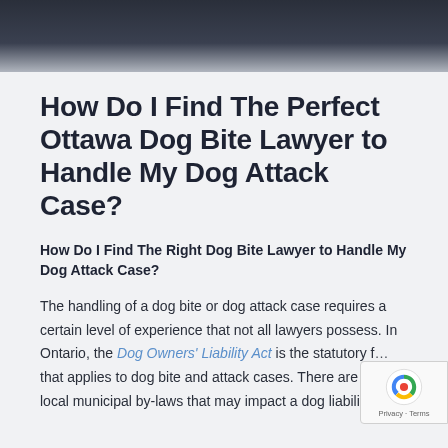[Figure (photo): Dark blue-grey header image with blurred background, decorative page header]
How Do I Find The Perfect Ottawa Dog Bite Lawyer to Handle My Dog Attack Case?
How Do I Find The Right Dog Bite Lawyer to Handle My Dog Attack Case?
The handling of a dog bite or dog attack case requires a certain level of experience that not all lawyers possess. In Ontario, the Dog Owners' Liability Act is the statutory [framework] that applies to dog bite and attack cases. There are [also] local municipal by-laws that may impact a dog liability [case]